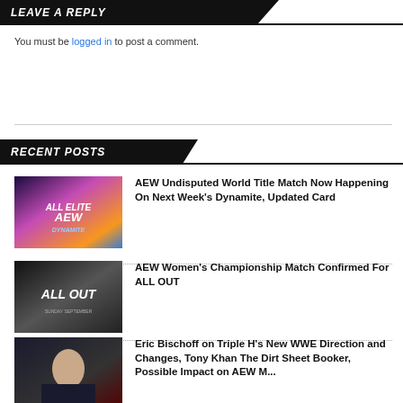LEAVE A REPLY
You must be logged in to post a comment.
RECENT POSTS
AEW Undisputed World Title Match Now Happening On Next Week's Dynamite, Updated Card
AEW Women's Championship Match Confirmed For ALL OUT
Eric Bischoff on Triple H's New WWE Direction and Changes, Tony Khan The Dirt Sheet Booker, Possible Impact on AEW M...